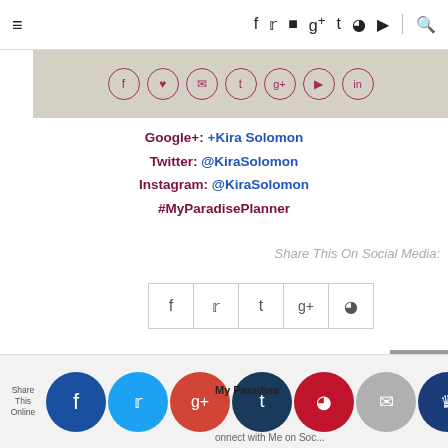Navigation bar with hamburger menu and social icons: f, twitter, instagram, g+, tumblr, pinterest, youtube, search
[Figure (infographic): Beige/tan banner with 7 social media icon circles outlined in dark red/maroon]
Google+: +Kira Solomon
Twitter: @KiraSolomon
Instagram: @KiraSolomon
#MyParadisePlanner
Share This On Social Media:
[Figure (infographic): Row of 5 social share buttons: facebook (f), twitter, tumblr (t), google+ (g+), pinterest]
[Figure (infographic): Gray back-to-top arrow box]
Share This Online | Facebook | Twitter | Google+ | Tumblr | Pinterest | Email | Crown icon | My Paradise ... connect with Me on Soc...